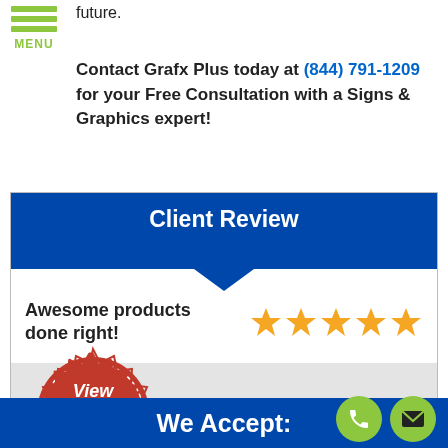MENU
future.
Contact Grafx Plus today at (844) 791-1209 for your Free Consultation with a Signs & Graphics expert!
[Figure (infographic): Client Review box with dark blue header, chevron arrow, 5 gold stars, review quote 'Awesome products done right!', red seal badge 'View Sign Gallery CLICK HERE', and reviewer name '- Karren Hill']
We Accept:
[Figure (illustration): Green circular phone button and green circular mail/envelope button]